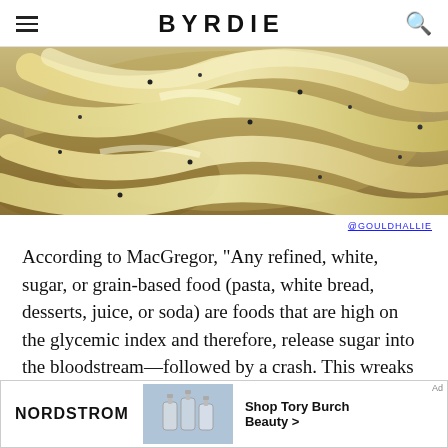BYRDIE
[Figure (photo): Close-up photo of pasta (fettuccine or wide noodles) with black pepper, creamy sauce]
@GOULDHALLIE
According to MacGregor, "Any refined, white, sugar, or grain-based food (pasta, white bread, desserts, juice, or soda) are foods that are high on the glycemic index and therefore, release sugar into the bloodstream—followed by a crash. This wreaks havoc on our bodies, causes skin damage (and damage to other body systems), triggers inflammation, and
[Figure (other): Nordstrom advertisement banner: Shop Tory Burch Beauty >]